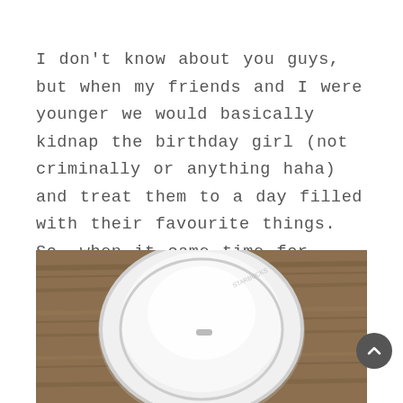I don't know about you guys, but when my friends and I were younger we would basically kidnap the birthday girl (not criminally or anything haha) and treat them to a day filled with their favourite things. So, when it came time for Derek's birthday, I knew I wanted to do the same thing.
[Figure (photo): Top-down view of a white disposable coffee cup lid on a wooden table surface]